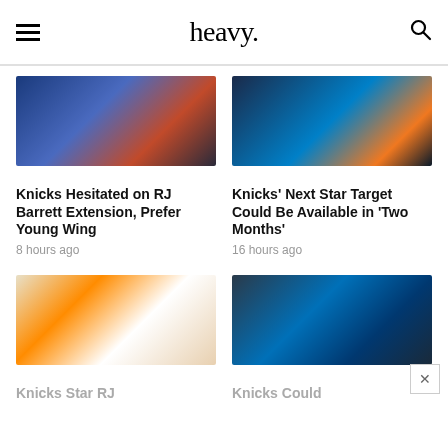heavy.
[Figure (photo): Two New York Knicks players in blue uniforms talking on court]
[Figure (photo): NBA player in OKC Thunder blue uniform looking up]
Knicks Hesitated on RJ Barrett Extension, Prefer Young Wing
Knicks' Next Star Target Could Be Available in 'Two Months'
8 hours ago
16 hours ago
[Figure (photo): RJ Barrett #9 in Knicks white uniform dribbling basketball]
[Figure (photo): OKC Thunder player #2 in blue uniform running on court]
Knicks Star RJ
Knicks Could